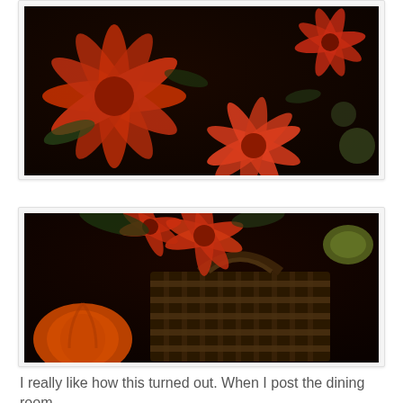[Figure (photo): Close-up photo of orange and red chrysanthemum flowers with dark green foliage against a dark background]
[Figure (photo): Photo of a dark wicker/woven basket containing orange/red chrysanthemums and other fall flowers, with an orange pumpkin visible at the lower left, against a dark background]
I really like how this turned out. When I post the dining room